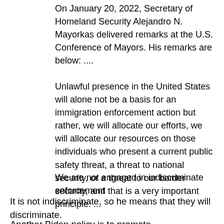On January 20, 2022, Secretary of Homeland Security Alejandro N. Mayorkas delivered remarks at the U.S. Conference of Mayors. His remarks are below: ....
Unlawful presence in the United States will alone not be a basis for an immigration enforcement action but rather, we will allocate our efforts, we will allocate our resources on those individuals who present a current public safety threat, a threat to national security, or a threat to our border security, and that is a very important principle. ...
We are not engaged in indiscriminate enforcement
It is not indiscriminate, so he means that they will discriminate.
Another Biden policy is to promote transgenderism. There was big news recently when a college boy who was transitioning to a female identity, and won a bunch of swim